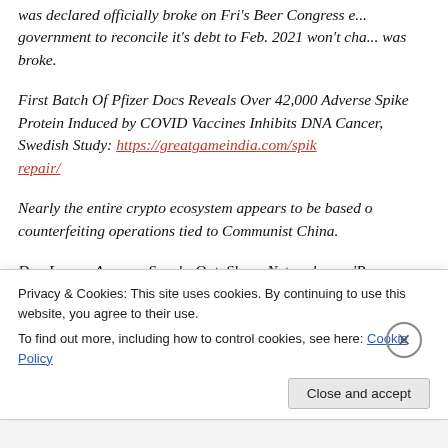was declared officially broke on Fri's Beer Congress e... government to reconcile it's debt to Feb. 2021 won't cha... was broke.
First Batch Of Pfizer Docs Reveals Over 42,000 Adverse... Spike Protein Induced by COVID Vaccines Inhibits DNA... Cancer, Swedish Study: https://greatgameindia.com/spik... repair/
Nearly the entire crypto ecosystem appears to be based o... counterfeiting operations tied to Communist China.
Don Lemon Accuser Speaks Out, Slams Network as a 'P... Machine': https://newsyoucantrust.me/3rIA5S8
Privacy & Cookies: This site uses cookies. By continuing to use this website, you agree to their use. To find out more, including how to control cookies, see here: Cookie Policy